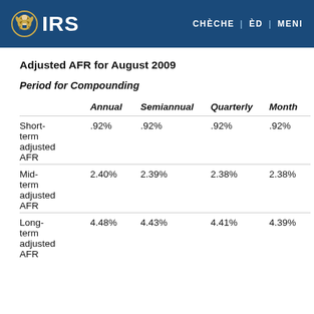IRS | CHÈCHE | ÈD | MENI
Adjusted AFR for August 2009
Period for Compounding
|  | Annual | Semiannual | Quarterly | Monthly |
| --- | --- | --- | --- | --- |
| Short-term adjusted AFR | .92% | .92% | .92% | .92% |
| Mid-term adjusted AFR | 2.40% | 2.39% | 2.38% | 2.38% |
| Long-term adjusted AFR | 4.48% | 4.43% | 4.41% | 4.39% |